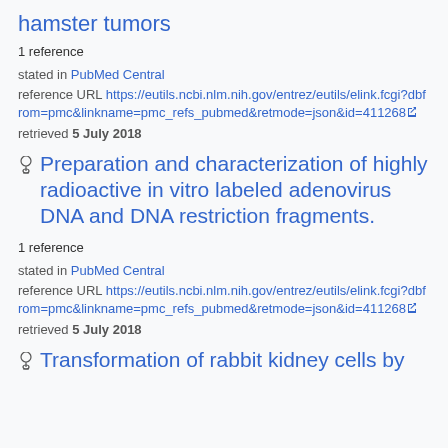hamster tumors
1 reference
stated in PubMed Central
reference URL https://eutils.ncbi.nlm.nih.gov/entrez/eutils/elink.fcgi?dbfrom=pmc&linkname=pmc_refs_pubmed&retmode=json&id=411268
retrieved 5 July 2018
Preparation and characterization of highly radioactive in vitro labeled adenovirus DNA and DNA restriction fragments.
1 reference
stated in PubMed Central
reference URL https://eutils.ncbi.nlm.nih.gov/entrez/eutils/elink.fcgi?dbfrom=pmc&linkname=pmc_refs_pubmed&retmode=json&id=411268
retrieved 5 July 2018
Transformation of rabbit kidney cells by